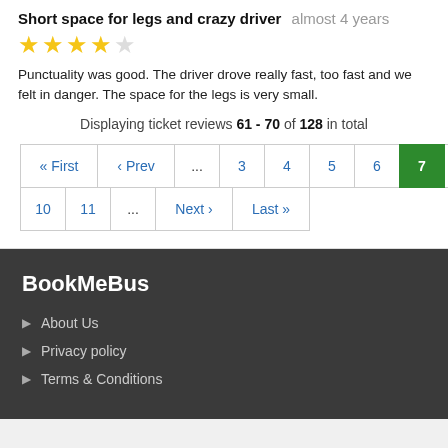Short space for legs and crazy driver  almost 4 years
Punctuality was good. The driver drove really fast, too fast and we felt in danger. The space for the legs is very small.
Displaying ticket reviews 61 - 70 of 128 in total
Pagination: « First ‹ Prev ... 3 4 5 6 7 8 9 / 10 11 ... Next › Last »
BookMeBus
About Us
Privacy policy
Terms & Conditions